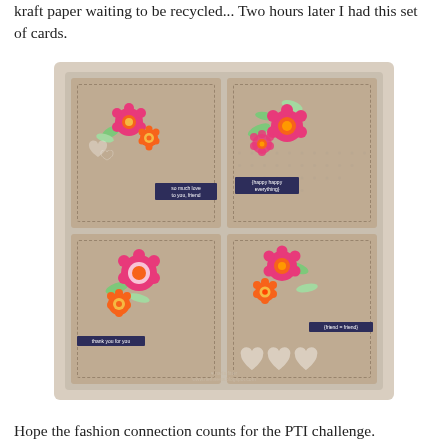kraft paper waiting to be recycled... Two hours later I had this set of cards.
[Figure (photo): A photograph showing four handmade kraft paper greeting cards arranged in a 2x2 grid. Each card features colorful floral decorations with pink, orange, and red flowers with green leaves, and small dark navy label tags with white text. Card 1 (top-left): text tag reads 'so much love to you friend', two small hearts. Card 2 (top-right): dotted pattern background, text tag reads 'happy happy everything'. Card 3 (bottom-left): text tag reads 'thank you for you'. Card 4 (bottom-right): three white hearts, text tag reads 'friends = friends'. Watermark text at bottom: naria fitter / www.rierlinceea.blogspot.com]
Hope the fashion connection counts for the PTI challenge.